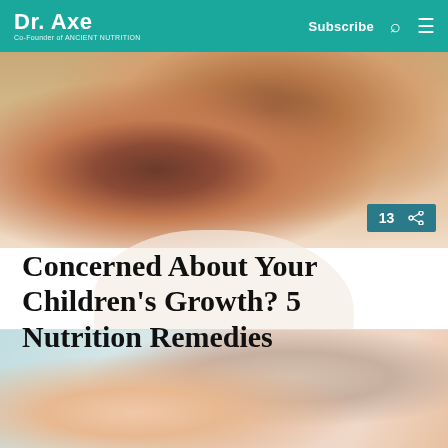Dr. Axe — Co-Founder of ANCIENT NUTRITION | Subscribe
[Figure (photo): A smiling young Black girl with a yellow flower in her hair, being held or having her hair done by an adult in the background. Warm lighting, indoor setting.]
Concerned About Your Children's Growth? 5 Nutrition Remedies
[Figure (photo): Close-up of hands, possibly massaging or applying something, with warm neutral background tones.]